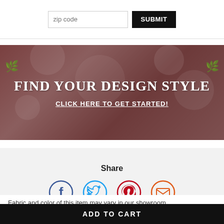zip code
SUBMIT
[Figure (illustration): Banner with dark reddish-brown bokeh background, leaf decorations on sides, large white text 'FIND YOUR DESIGN STYLE' and underlined white text 'CLICK HERE TO GET STARTED!']
Share
[Figure (infographic): Four circular social media share icons: Facebook (blue), Twitter (light blue), Pinterest (red), Email (orange-red)]
Fabric and color of this item may vary in our showroom
ADD TO CART